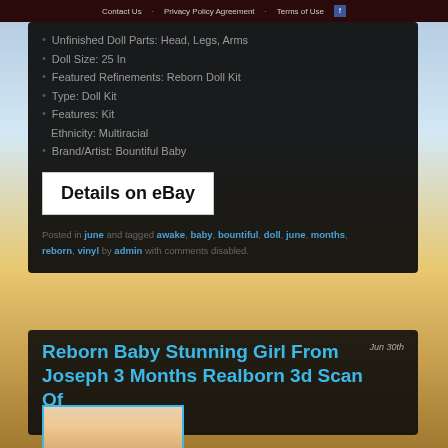Contact Us  Privacy Policy Agreement  Terms of Use
Unfinished Doll Parts: Head, Legs, Arms
Doll Size: 25 In
Featured Refinements: Reborn Doll Kit
Type: Doll Kit
Features: Kit
Ethnicity: Multiracial
Brand/Artist: Bountiful Baby
Details on eBay
Posted in june and tagged awake, baby, bountiful, doll, june, months, reborn, vinyl by admin with comments disabled.
Reborn Baby Stunning Girl From Joseph 3 Months Realborn 3d Scan Of Real Baby
Jun 30th
[Figure (photo): Photo of a reborn baby doll]